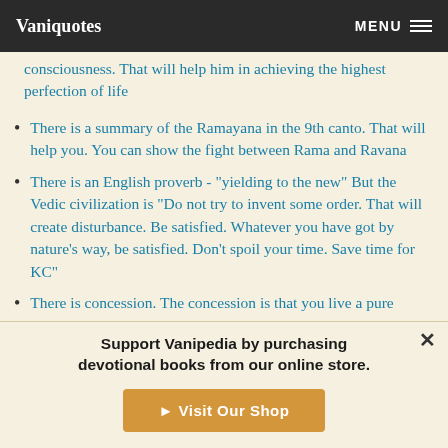Vaniquotes | MENU
consciousness. That will help him in achieving the highest perfection of life
There is a summary of the Ramayana in the 9th canto. That will help you. You can show the fight between Rama and Ravana
There is an English proverb - "yielding to the new" But the Vedic civilization is "Do not try to invent some order. That will create disturbance. Be satisfied. Whatever you have got by nature's way, be satisfied. Don't spoil your time. Save time for KC"
There is concession. The concession is that you live a pure
Support Vanipedia by purchasing devotional books from our online store.
Visit Our Shop